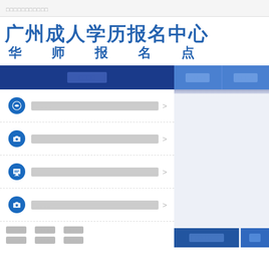□□□□□□□□□□□
广州成人学历报名中心
华 师 报 名 点
□□□□
□□□□ >
□□□□ >
□□□□ >
□□□□ >
□□□□
□□□□
□□□□ □□□□ □□□□
□□□□ □□□□ □□□□
□□□□□□□
□□